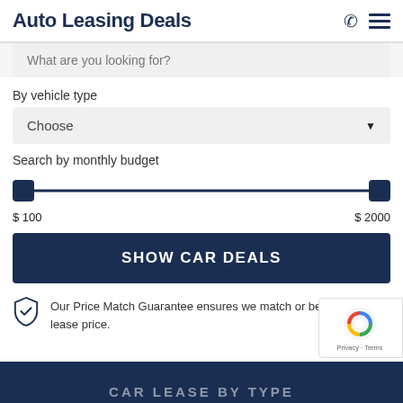Auto Leasing Deals
What are you looking for?
By vehicle type
Choose
Search by monthly budget
$ 100
$ 2000
SHOW CAR DEALS
Our Price Match Guarantee ensures we match or beat any auto lease price.
CAR LEASE BY TYPE